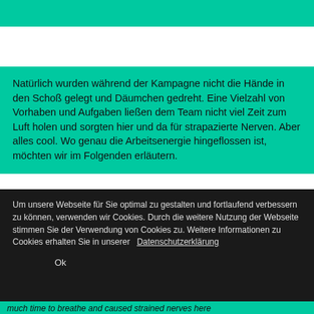[Figure (other): Teal/turquoise horizontal bar at top of page]
Natürlich wurden während der Kampagne nicht die Hände in den Schoß gelegt und Däumchen gedreht. Eine Vielzahl von Vorhaben und Aufgaben ließen dem Team nicht viel Zeit zum Luft holen und sorgten hier und da für strapazierte Nerven. Aber alles cool. Wo genau die Arbeitsenergie hingeflossen ist, möchten wir im Folgenden erläutern.
Um unsere Webseite für Sie optimal zu gestalten und fortlaufend verbessern zu können, verwenden wir Cookies. Durch die weitere Nutzung der Webseite stimmen Sie der Verwendung von Cookies zu. Weitere Informationen zu Cookies erhalten Sie in unserer Datenschutzerklärung
Ok
much time to breathe and caused strained nerves here